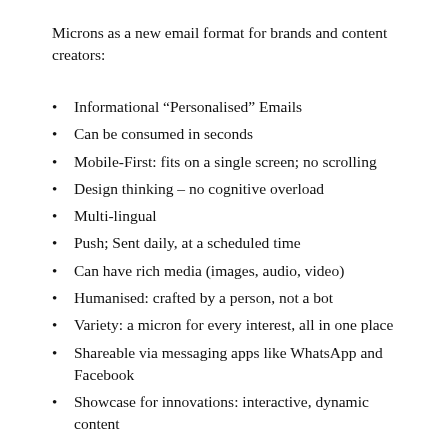Microns as a new email format for brands and content creators:
Informational “Personalised” Emails
Can be consumed in seconds
Mobile-First: fits on a single screen; no scrolling
Design thinking – no cognitive overload
Multi-lingual
Push; Sent daily, at a scheduled time
Can have rich media (images, audio, video)
Humanised: crafted by a person, not a bot
Variety: a micron for every interest, all in one place
Shareable via messaging apps like WhatsApp and Facebook
Showcase for innovations: interactive, dynamic content